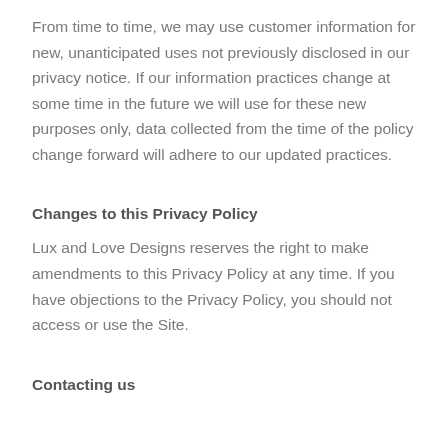From time to time, we may use customer information for new, unanticipated uses not previously disclosed in our privacy notice. If our information practices change at some time in the future we will use for these new purposes only, data collected from the time of the policy change forward will adhere to our updated practices.
Changes to this Privacy Policy
Lux and Love Designs reserves the right to make amendments to this Privacy Policy at any time. If you have objections to the Privacy Policy, you should not access or use the Site.
Contacting us